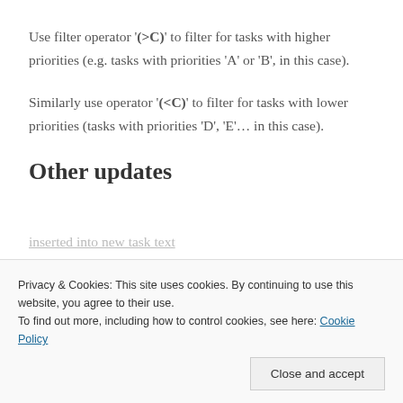Use filter operator '(>C)' to filter for tasks with higher priorities (e.g. tasks with priorities 'A' or 'B', in this case).
Similarly use operator '(<C)' to filter for tasks with lower priorities (tasks with priorities 'D', 'E'... in this case).
Other updates
inserted into new task text
Privacy & Cookies: This site uses cookies. By continuing to use this website, you agree to their use.
To find out more, including how to control cookies, see here: Cookie Policy